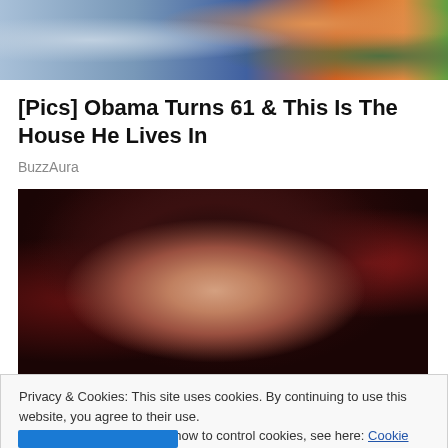[Figure (photo): Cropped photo of two people, one in blue clothing and one in orange/yellow, outdoor background with greenery]
[Pics] Obama Turns 61 & This Is The House He Lives In
BuzzAura
[Figure (photo): Close-up portrait photo of a woman with short dark reddish-black hair, looking downward, dark blurred background]
Privacy & Cookies: This site uses cookies. By continuing to use this website, you agree to their use.
To find out more, including how to control cookies, see here: Cookie Policy
Close and accept